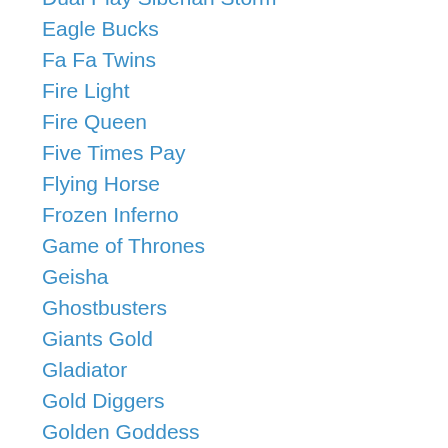Dual Play Siberian Storm
Eagle Bucks
Fa Fa Twins
Fire Light
Fire Queen
Five Times Pay
Flying Horse
Frozen Inferno
Game of Thrones
Geisha
Ghostbusters
Giants Gold
Gladiator
Gold Diggers
Golden Goddess